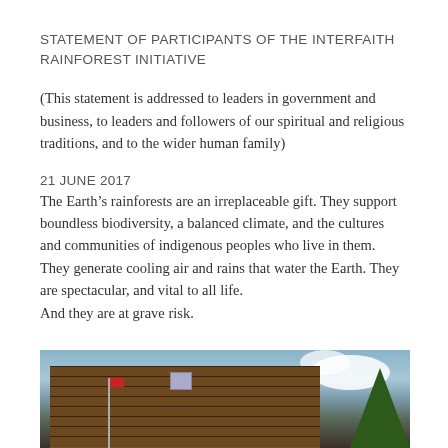STATEMENT OF PARTICIPANTS OF THE INTERFAITH RAINFOREST INITIATIVE
(This statement is addressed to leaders in government and business, to leaders and followers of our spiritual and religious traditions, and to the wider human family)
21 JUNE 2017
The Earth’s rainforests are an irreplaceable gift. They support boundless biodiversity, a balanced climate, and the cultures and communities of indigenous peoples who live in them. They generate cooling air and rains that water the Earth. They are spectacular, and vital to all life.
And they are at grave risk.
[Figure (photo): Photo of a log cabin building with a flag pole and flag on the left, trees on the right, against a blue sky with clouds.]